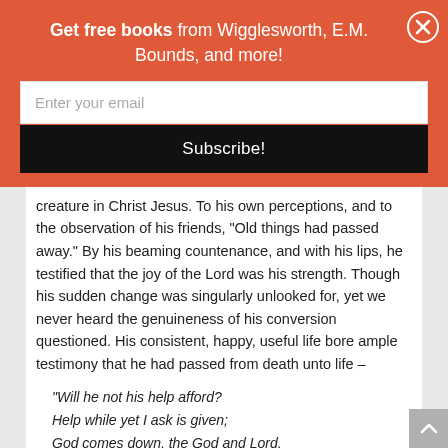Get free books from Wigglesworth, E.M. Bounds, and more!
creature in Christ Jesus. To his own perceptions, and to the observation of his friends, “Old things had passed away.” By his beaming countenance, and with his lips, he testified that the joy of the Lord was his strength. Though his sudden change was singularly unlooked for, yet we never heard the genuineness of his conversion questioned. His consistent, happy, useful life bore ample testimony that he had passed from death unto life –
“Will he not his help afford?
Help while yet I ask is given;
God comes down, the God and Lord,
Who made both earth and heaven.”